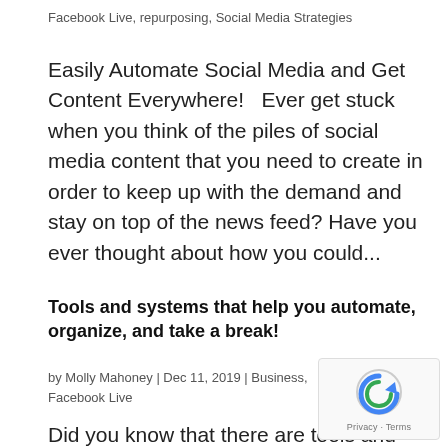Facebook Live, repurposing, Social Media Strategies
Easily Automate Social Media and Get Content Everywhere!   Ever get stuck when you think of the piles of social media content that you need to create in order to keep up with the demand and stay on top of the news feed? Have you ever thought about how you could...
Tools and systems that help you automate, organize, and take a break!
by Molly Mahoney | Dec 11, 2019 | Business, Facebook Live
Did you know that there are tools and